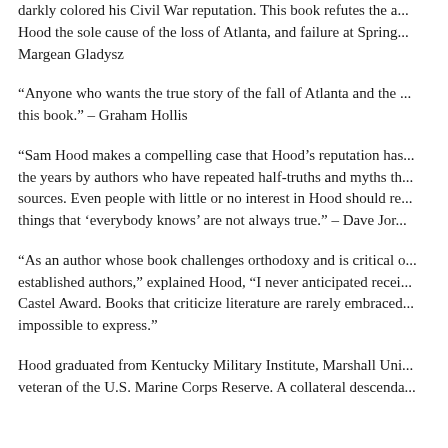darkly colored his Civil War reputation. This book refutes the a... Hood the sole cause of the loss of Atlanta, and failure at Spring... Margean Gladysz
“Anyone who wants the true story of the fall of Atlanta and the ... this book.” – Graham Hollis
“Sam Hood makes a compelling case that Hood’s reputation has ... the years by authors who have repeated half-truths and myths th... sources. Even people with little or no interest in Hood should re... things that ‘everybody knows’ are not always true.” – Dave Jor...
“As an author whose book challenges orthodoxy and is critical o... established authors,” explained Hood, “I never anticipated recei... Castel Award. Books that criticize literature are rarely embraced... impossible to express.”
Hood graduated from Kentucky Military Institute, Marshall Uni... veteran of the U.S. Marine Corps Reserve. A collateral descenda...